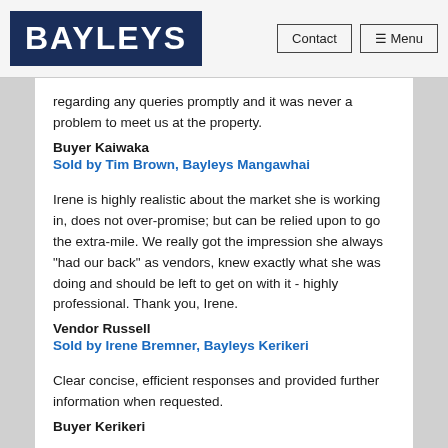BAYLEYS | Contact | Menu
regarding any queries promptly and it was never a problem to meet us at the property.
Buyer Kaiwaka
Sold by Tim Brown, Bayleys Mangawhai
Irene is highly realistic about the market she is working in, does not over-promise; but can be relied upon to go the extra-mile. We really got the impression she always "had our back" as vendors, knew exactly what she was doing and should be left to get on with it - highly professional. Thank you, Irene.
Vendor Russell
Sold by Irene Bremner, Bayleys Kerikeri
Clear concise, efficient responses and provided further information when requested.
Buyer Kerikeri
Sold by David Baguley  Bayleys Kerikeri